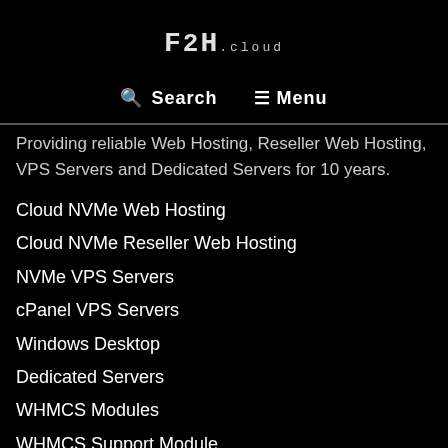F2H.CLOUD
🔍 Search  ☰ Menu
Providing reliable Web Hosting, Reseller Web Hosting, VPS Servers and Dedicated Servers for 10 years.
Cloud NVMe Web Hosting
Cloud NVMe Reseller Web Hosting
NVMe VPS Servers
cPanel VPS Servers
Windows Desktop
Dedicated Servers
WHMCS Modules
WHMCS Support Module
Sitemap